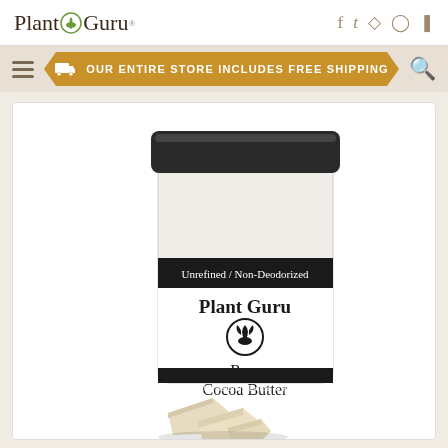Plant Guru
OUR ENTIRE STORE INCLUDES FREE SHIPPING
[Figure (photo): Plant Guru Raw Cocoa Butter product jar with black lid and white label reading 'Unrefined / Non-Deodorized', 'Plant Guru', plant logo, 'Raw Cocoa Butter', '100% Natural / Prime & Pure', with raw cocoa butter chunks in front of the jar.]